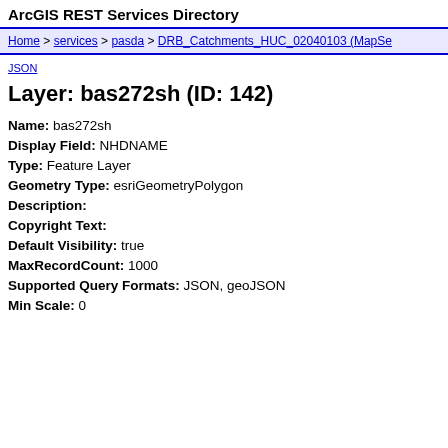ArcGIS REST Services Directory
Home > services > pasda > DRB_Catchments_HUC_02040103 (MapSe...
JSON
Layer: bas272sh (ID: 142)
Name: bas272sh
Display Field: NHDNAME
Type: Feature Layer
Geometry Type: esriGeometryPolygon
Description:
Copyright Text:
Default Visibility: true
MaxRecordCount: 1000
Supported Query Formats: JSON, geoJSON
Min Scale: 0